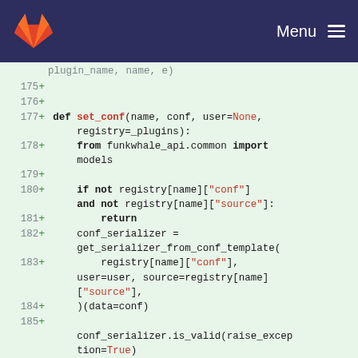GitLab — Menu
[Figure (screenshot): GitLab code diff view showing Python source code lines 175-186. Lines show a set_conf function definition with imports and logic for registry and serializer.]